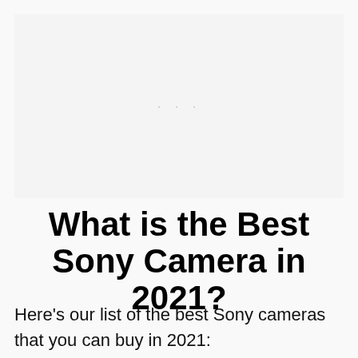[Figure (photo): Placeholder image area with light gray background and three dots indicating a loading or missing image]
What is the Best Sony Camera in 2021?
Here's our list of the best Sony cameras that you can buy in 2021: